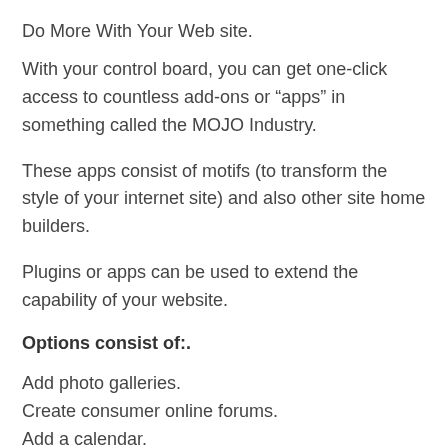Do More With Your Web site.
With your control board, you can get one-click access to countless add-ons or “apps” in something called the MOJO Industry.
These apps consist of motifs (to transform the style of your internet site) and also other site home builders.
Plugins or apps can be used to extend the capability of your website.
Options consist of:.
Add photo galleries.
Create consumer online forums.
Add a calendar.
Integrate your site with a CRM.
Enable consumers to pay by SMS (text).
Hotel booking plugin.